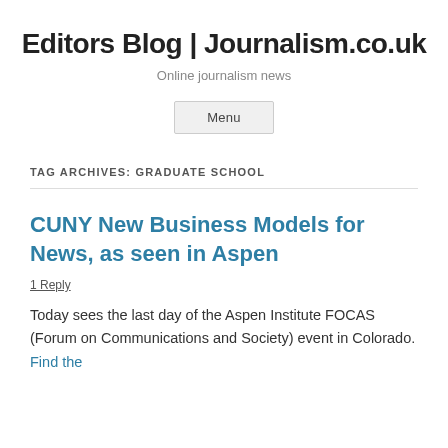Editors Blog | Journalism.co.uk
Online journalism news
Menu
TAG ARCHIVES: GRADUATE SCHOOL
CUNY New Business Models for News, as seen in Aspen
1 Reply
Today sees the last day of the Aspen Institute FOCAS (Forum on Communications and Society) event in Colorado. Find the